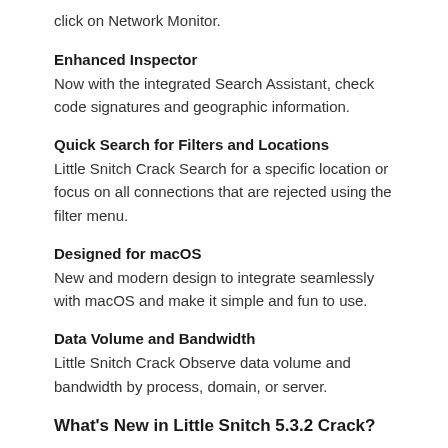click on Network Monitor.
Enhanced Inspector
Now with the integrated Search Assistant, check code signatures and geographic information.
Quick Search for Filters and Locations
Little Snitch Crack Search for a specific location or focus on all connections that are rejected using the filter menu.
Designed for macOS
New and modern design to integrate seamlessly with macOS and make it simple and fun to use.
Data Volume and Bandwidth
Little Snitch Crack Observe data volume and bandwidth by process, domain, or server.
What's New in Little Snitch 5.3.2 Crack?